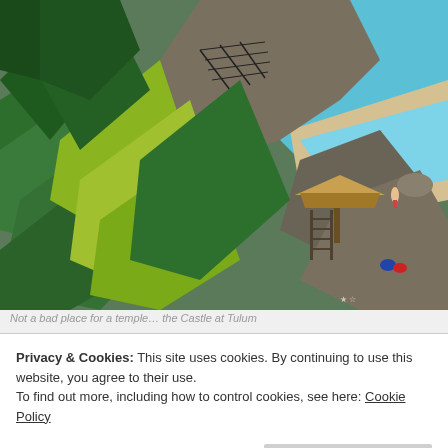[Figure (photo): Aerial view of the Castle at Tulum, Mexico. Lush tropical green plants and palm fronds in the foreground (left), rocky cliffs with a small thatched-roof hut structure and wooden stairs/ladder on the rocks (center-right), turquoise Caribbean sea with sandy beach and a person wading in the water (top right), stone steps/pathway along the cliff.]
Not a bad place for a temple… the Castle at Tulum
Privacy & Cookies: This site uses cookies. By continuing to use this website, you agree to their use.
To find out more, including how to control cookies, see here: Cookie Policy
Close and accept